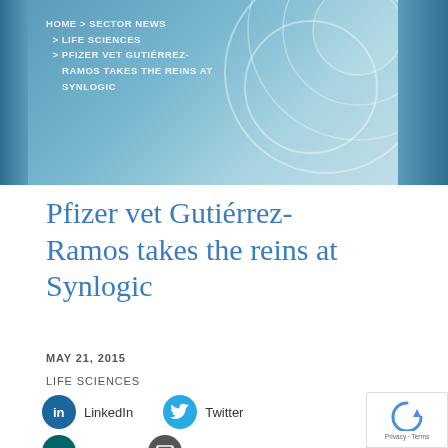HOME > SECTOR NEWS > LIFE SCIENCES > PFIZER VET GUTIÉRREZ-RAMOS TAKES THE REINS AT SYNLOGIC
Pfizer vet Gutiérrez-Ramos takes the reins at Synlogic
MAY 21, 2015
LIFE SCIENCES
[Figure (infographic): Social share buttons: LinkedIn, Twitter, Xing, Email]